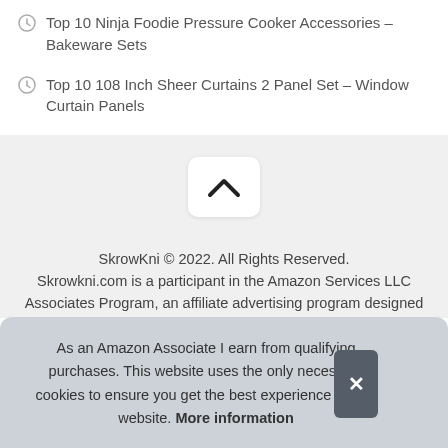Top 10 Ninja Foodie Pressure Cooker Accessories – Bakeware Sets
Top 10 108 Inch Sheer Curtains 2 Panel Set – Window Curtain Panels
[Figure (other): Scroll-to-top button with upward chevron arrow on a light grey background]
SkrowKni © 2022. All Rights Reserved. Skrowkni.com is a participant in the Amazon Services LLC Associates Program, an affiliate advertising program designed
As an Amazon Associate I earn from qualifying purchases. This website uses the only necessary cookies to ensure you get the best experience on our website. More information